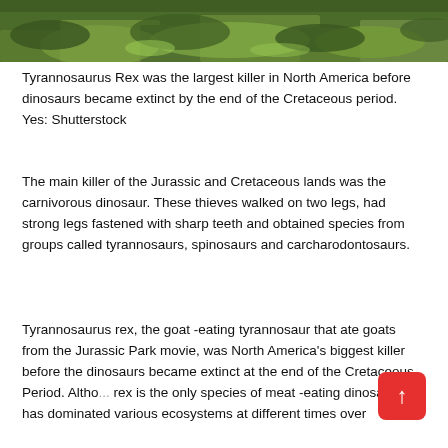[Figure (photo): A photograph of lush green grass and foliage, likely a dinosaur habitat scene.]
Tyrannosaurus Rex was the largest killer in North America before dinosaurs became extinct by the end of the Cretaceous period. Yes: Shutterstock
The main killer of the Jurassic and Cretaceous lands was the carnivorous dinosaur. These thieves walked on two legs, had strong legs fastened with sharp teeth and obtained species from groups called tyrannosaurs, spinosaurs and carcharodontosaurs.
Tyrannosaurus rex, the goat -eating tyrannosaur that ate goats from the Jurassic Park movie, was North America's biggest killer before the dinosaurs became extinct at the end of the Cretaceous Period. Altho... rex is the only species of meat -eating dinosaur that has dominated various ecosystems at different times over